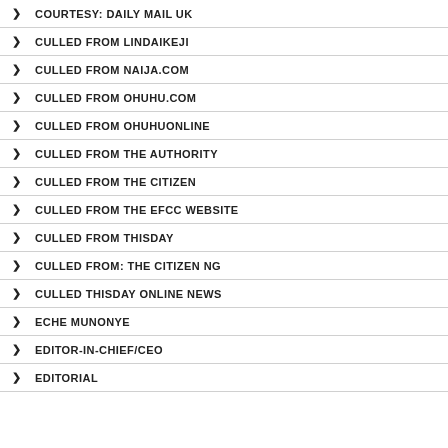COURTESY: DAILY MAIL UK
CULLED FROM LINDAIKEJI
CULLED FROM NAIJA.COM
CULLED FROM OHUHU.COM
CULLED FROM OHUHUONLINE
CULLED FROM THE AUTHORITY
CULLED FROM THE CITIZEN
CULLED FROM THE EFCC WEBSITE
CULLED FROM THISDAY
CULLED FROM: THE CITIZEN NG
CULLED THISDAY ONLINE NEWS
ECHE MUNONYE
EDITOR-IN-CHIEF/CEO
EDITORIAL